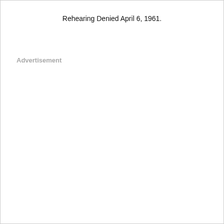Rehearing Denied April 6, 1961.
Advertisement